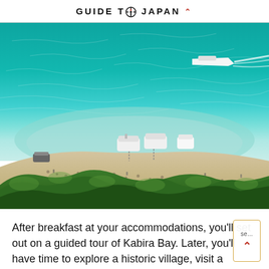GUIDE TO JAPAN ^
[Figure (photo): Aerial view of Kabira Bay, Ishigaki Island, Japan. Turquoise and teal water with a white sandy beach, boats moored at the shore, people on the beach, lush green trees in the foreground, and a motorboat creating a wake in the upper right of the water.]
After breakfast at your accommodations, you'll set out on a guided tour of Kabira Bay. Later, you'll have time to explore a historic village, visit a